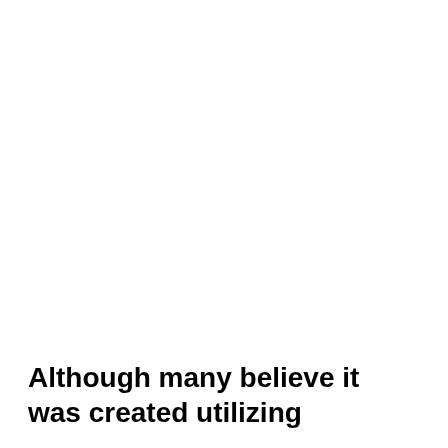Although many believe it was created utilizing